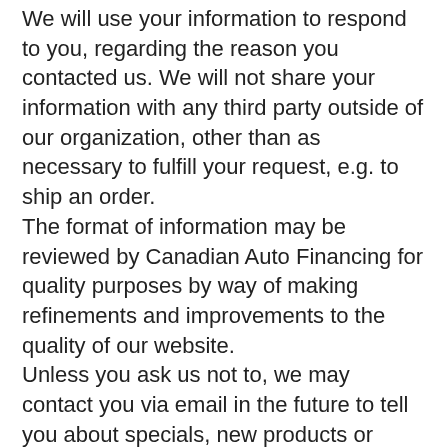We will use your information to respond to you, regarding the reason you contacted us. We will not share your information with any third party outside of our organization, other than as necessary to fulfill your request, e.g. to ship an order. The format of information may be reviewed by Canadian Auto Financing for quality purposes by way of making refinements and improvements to the quality of our website. Unless you ask us not to, we may contact you via email in the future to tell you about specials, new products or services, or changes to this privacy policy. Your access to and control over the information you may opt-out of any future contacts from us at any time. You can do the following at any time by contacting us via the email address or phone number given on our website: